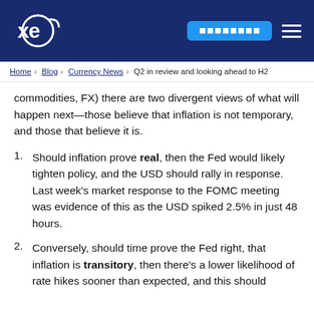XE — Home > Blog > Currency News > Q2 in review and looking ahead to H2
commodities, FX) there are two divergent views of what will happen next—those believe that inflation is not temporary, and those that believe it is.
Should inflation prove real, then the Fed would likely tighten policy, and the USD should rally in response. Last week's market response to the FOMC meeting was evidence of this as the USD spiked 2.5% in just 48 hours.
Conversely, should time prove the Fed right, that inflation is transitory, then there's a lower likelihood of rate hikes sooner than expected, and this should